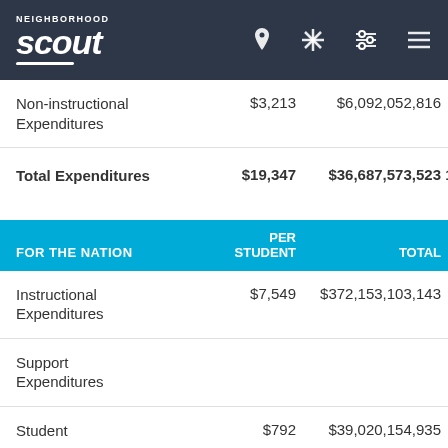Neighborhood Scout
|  | PER STUDENT | TOTAL | % OF TOTAL |
| --- | --- | --- | --- |
| Non-instructional Expenditures | $3,213 | $6,092,052,816 | 16.6% |
| Total Expenditures | $19,347 | $36,687,573,523 | 100.0% |
| FOR THE NATION | PER STUDENT | TOTAL | % OF TOTAL |
| --- | --- | --- | --- |
| Instructional Expenditures | $7,549 | $372,153,103,143 | 49.7% |
| Support Expenditures |  |  |  |
| Student | $792 | $39,020,154,935 | 5.2% |